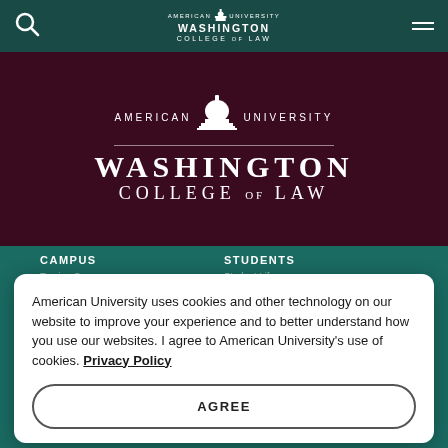American University Washington College of Law – navigation bar with search icon, logo, and hamburger menu
[Figure (logo): American University Washington College of Law logo with Capitol dome icon, white text on dark maroon background]
CAMPUS
STUDENTS
Touring Campus
Student Life
Facilities
Diversity
Pence Library
Calendar of Events
Historical Collection
American University uses cookies and other technology on our website to improve your experience and to better understand how you use our websites. I agree to American University's use of cookies. Privacy Policy
AGREE
ACADEMICS
APPLY